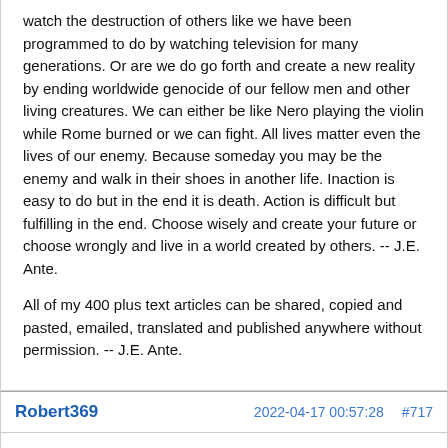watch the destruction of others like we have been programmed to do by watching television for many generations.  Or are we do go forth and create a new reality by ending worldwide genocide of our fellow men and other living creatures.  We can either be like Nero playing the violin while Rome burned or we can fight.  All lives matter even the lives of our enemy.  Because someday you may be the enemy and walk in their shoes in another life.  Inaction is easy to do but in the end it is death.   Action is difficult but fulfilling in the end.   Choose wisely and create your future or choose wrongly and live in a world created by others. -- J.E. Ante.
All of my 400 plus text articles can be shared, copied and pasted, emailed, translated and published anywhere without permission. -- J.E. Ante.
Robert369   2022-04-17 00:57:28   #717
Thank you for this mostly correct article, albeit technically not quite spot-on in some aspects.
Especially the below portion is outright wrong: